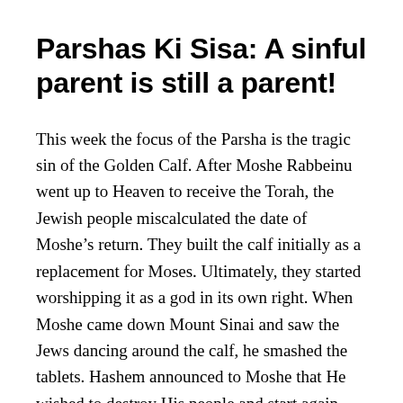Parshas Ki Sisa: A sinful parent is still a parent!
This week the focus of the Parsha is the tragic sin of the Golden Calf. After Moshe Rabbeinu went up to Heaven to receive the Torah, the Jewish people miscalculated the date of Moshe’s return. They built the calf initially as a replacement for Moses. Ultimately, they started worshipping it as a god in its own right. When Moshe came down Mount Sinai and saw the Jews dancing around the calf, he smashed the tablets. Hashem announced to Moshe that He wished to destroy His people and start again from scratch. But after much pleading and